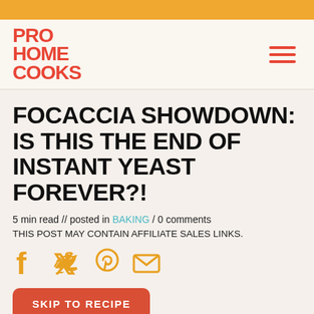PRO HOME COOKS
FOCACCIA SHOWDOWN: IS THIS THE END OF INSTANT YEAST FOREVER?!
5 min read // posted in BAKING / 0 comments
THIS POST MAY CONTAIN AFFILIATE SALES LINKS.
[Figure (illustration): Social share icons: Facebook, Twitter, Pinterest, Email in golden/amber color]
SKIP TO RECIPE
By Alex Chung
Writer for Pro Home Cooks